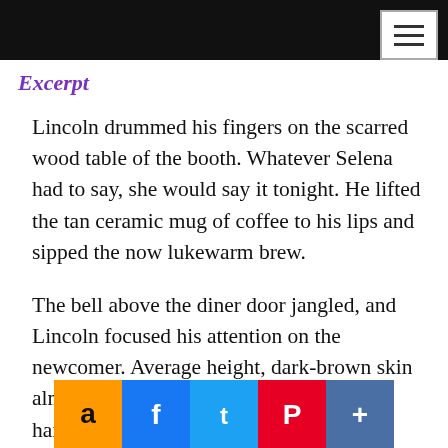Excerpt
Lincoln drummed his fingers on the scarred wood table of the booth. Whatever Selena had to say, she would say it tonight. He lifted the tan ceramic mug of coffee to his lips and sipped the now lukewarm brew.
The bell above the diner door jangled, and Lincoln focused his attention on the newcomer. Average height, dark-brown skin almost the color of soot, and rust-colored hair. She could’ve been beautiful, but too much smoking and partying had hardened f…